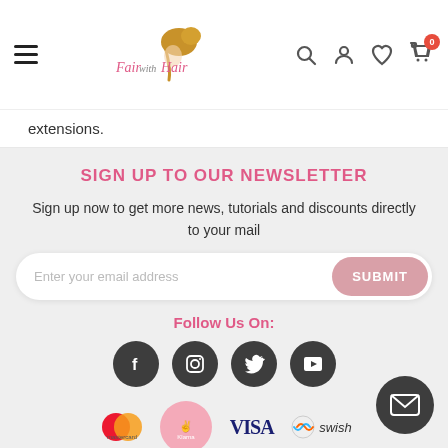Fair with Hair — navigation bar with hamburger menu, logo, search, account, wishlist, cart (0)
extensions.
SIGN UP TO OUR NEWSLETTER
Sign up now to get more news, tutorials and discounts directly to your mail
Enter your email address   SUBMIT
Follow Us On:
[Figure (infographic): Four dark circular social media icons: Facebook (f), Instagram (camera), Twitter (bird), YouTube (play button)]
[Figure (infographic): Payment method logos: Mastercard, Klarna, Visa, Swish]
Who are we?